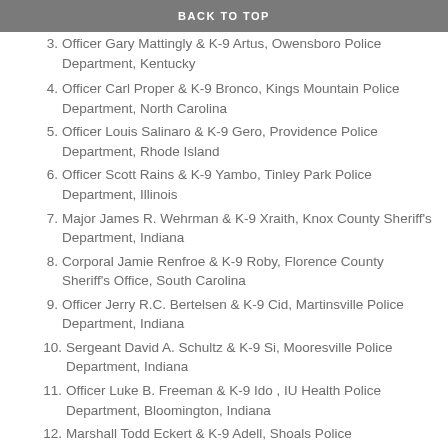BACK TO TOP
3. Officer Gary Mattingly & K-9 Artus, Owensboro Police Department, Kentucky
4. Officer Carl Proper & K-9 Bronco, Kings Mountain Police Department, North Carolina
5. Officer Louis Salinaro & K-9 Gero, Providence Police Department, Rhode Island
6. Officer Scott Rains & K-9 Yambo, Tinley Park Police Department, Illinois
7. Major James R. Wehrman & K-9 Xraith, Knox County Sheriff's Department, Indiana
8. Corporal Jamie Renfroe & K-9 Roby, Florence County Sheriff's Office, South Carolina
9. Officer Jerry R.C. Bertelsen & K-9 Cid, Martinsville Police Department, Indiana
10. Sergeant David A. Schultz & K-9 Si, Mooresville Police Department, Indiana
11. Officer Luke B. Freeman & K-9 Ido , IU Health Police Department, Bloomington, Indiana
12. Marshall Todd Eckert & K-9 Adell, Shoals Police